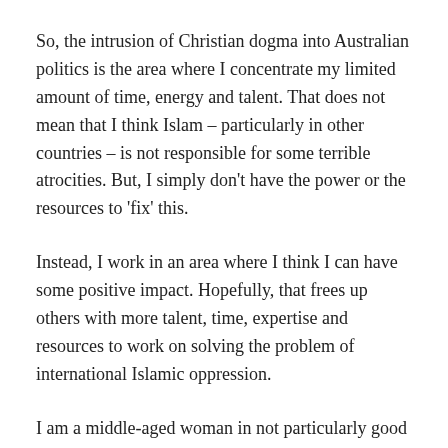So, the intrusion of Christian dogma into Australian politics is the area where I concentrate my limited amount of time, energy and talent. That does not mean that I think Islam – particularly in other countries – is not responsible for some terrible atrocities. But, I simply don't have the power or the resources to 'fix' this.
Instead, I work in an area where I think I can have some positive impact. Hopefully, that frees up others with more talent, time, expertise and resources to work on solving the problem of international Islamic oppression.
I am a middle-aged woman in not particularly good health. I care for an 87 year old mother and (at various times) her coterie of elderly friends. There is only so much I can do. Instead of criticizing me for what I don't do, perhaps you could consider acknowledging that, at least I make an effort to do something. I'm not spending my days watching Days